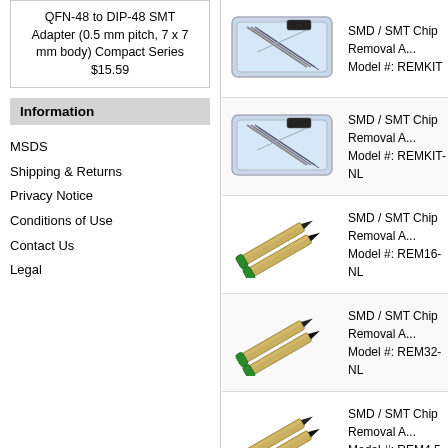QFN-48 to DIP-48 SMT Adapter (0.5 mm pitch, 7 x 7 mm body) Compact Series $15.59
Information
MSDS
Shipping & Returns
Privacy Notice
Conditions of Use
Contact Us
Legal
[Figure (photo): SMD/SMT Chip Removal kit in plastic case with tools]
SMD / SMT Chip Removal A... Model #: REMKIT
[Figure (photo): SMD/SMT Chip Removal kit in plastic case with tools]
SMD / SMT Chip Removal A... Model #: REMKIT-NL
[Figure (photo): SMD/SMT chip removal pen/tool with green cap]
SMD / SMT Chip Removal A... Model #: REM16-NL
[Figure (photo): SMD/SMT chip removal pen/tool with green cap]
SMD / SMT Chip Removal A... Model #: REM32-NL
[Figure (photo): SMD/SMT chip removal pen/tool with green cap]
SMD / SMT Chip Removal A... Model #: REM4.5-NL